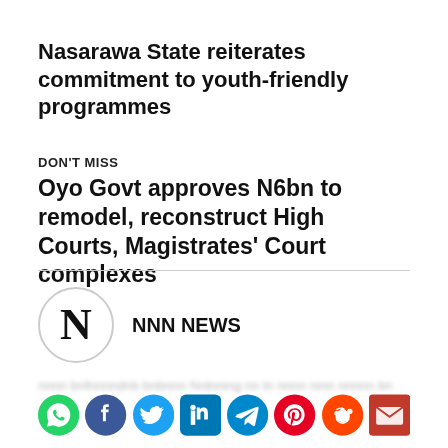Nasarawa State reiterates commitment to youth-friendly programmes
DON'T MISS
Oyo Govt approves N6bn to remodel, reconstruct High Courts, Magistrates' Court complexes
[Figure (logo): NNN News logo — circular border with bold N letter]
NNN NEWS
blurred teaser text
[Figure (infographic): Social media share icons row: WhatsApp, Facebook, Twitter, LinkedIn, Telegram, Pinterest, Reddit, Email]